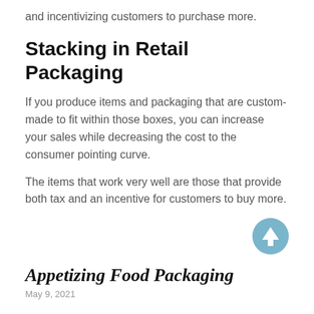and incentivizing customers to purchase more.
Stacking in Retail Packaging
If you produce items and packaging that are custom-made to fit within those boxes, you can increase your sales while decreasing the cost to the consumer pointing curve.
The items that work very well are those that provide both tax and an incentive for customers to buy more.
[Figure (illustration): A circular blue button with an upward-pointing arrow icon]
Appetizing Food Packaging
May 9, 2021